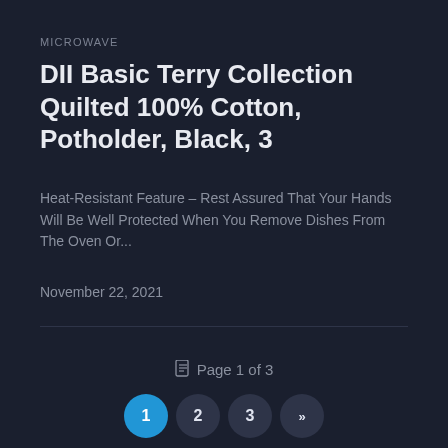MICROWAVE
DII Basic Terry Collection Quilted 100% Cotton, Potholder, Black, 3
Heat-Resistant Feature – Rest Assured That Your Hands Will Be Well Protected When You Remove Dishes From The Oven Or...
November 22, 2021
Page 1 of 3